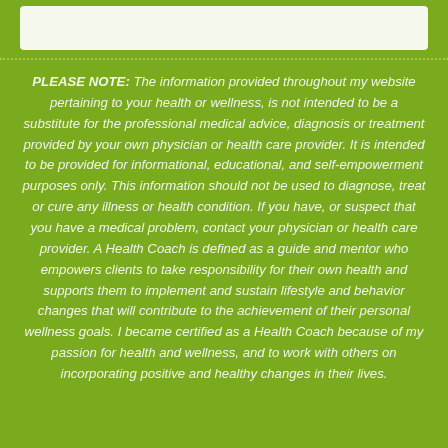[Figure (other): White rectangular box at top of page on green background]
PLEASE NOTE: The information provided throughout my website pertaining to your health or wellness, is not intended to be a substitute for the professional medical advice, diagnosis or treatment provided by your own physician or health care provider. It is intended to be provided for informational, educational, and self-empowerment purposes only. This information should not be used to diagnose, treat or cure any illness or health condition. If you have, or suspect that you have a medical problem, contact your physician or health care provider. A Health Coach is defined as a guide and mentor who empowers clients to take responsibility for their own health and supports them to implement and sustain lifestyle and behavior changes that will contribute to the achievement of their personal wellness goals. I became certified as a Health Coach because of my passion for health and wellness, and to work with others on incorporating positive and healthy changes in their lives.